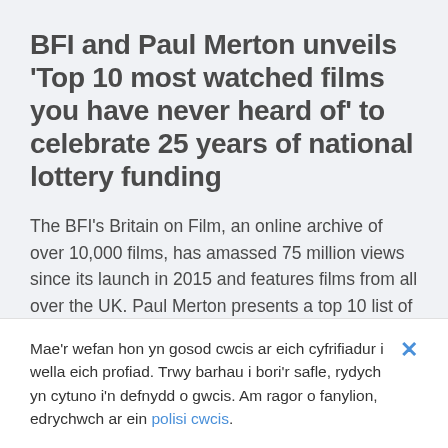BFI and Paul Merton unveils 'Top 10 most watched films you have never heard of' to celebrate 25 years of national lottery funding
The BFI's Britain on Film, an online archive of over 10,000 films, has amassed 75 million views since its launch in 2015 and features films from all over the UK. Paul Merton presents a top 10 list of the most watched films to celebrate 25 years of National Lottery funding for UK film.
Mae'r wefan hon yn gosod cwcis ar eich cyfrifiadur i wella eich profiad. Trwy barhau i bori'r safle, rydych yn cytuno i'n defnydd o gwcis. Am ragor o fanylion, edrychwch ar ein polisi cwcis.